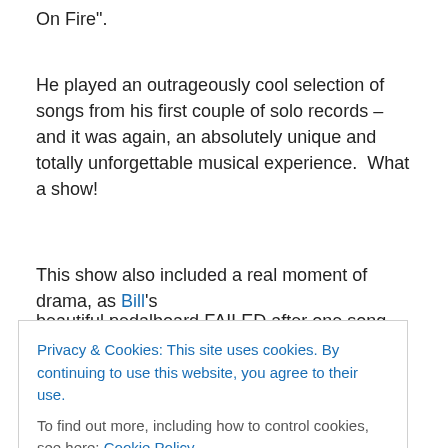On Fire".
He played an outrageously cool selection of songs from his first couple of solo records – and it was again, an absolutely unique and totally unforgettable musical experience.  What a show!
This show also included a real moment of drama, as Bill's beautiful pedalboard FAILED after one song, so
Privacy & Cookies: This site uses cookies. By continuing to use this website, you agree to their use.
To find out more, including how to control cookies, see here: Cookie Policy
around, with a determined look on his face – plugged his